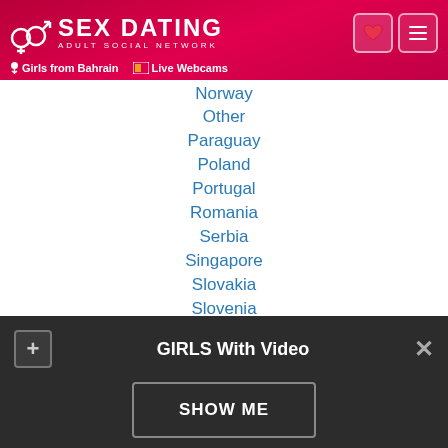SEX DATING ADULT SOCIAL NETWORK | Girls from Bahrain | Live Webcams
Norway
Other
Paraguay
Poland
Portugal
Romania
Serbia
Singapore
Slovakia
Slovenia
South Africa
South Korea
Spain
GIRLS With Video
SHOW ME